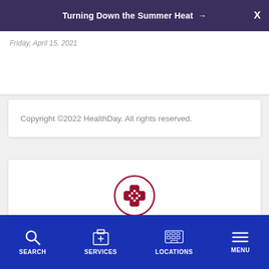Turning Down the Summer Heat →  X
Friday, April 15, 2021
Copyright ©2022 HealthDay. All rights reserved.
[Figure (illustration): Red circle with bandage cross icon and label 'Find a Doctor']
SEARCH  SERVICES  LOCATIONS  MENU